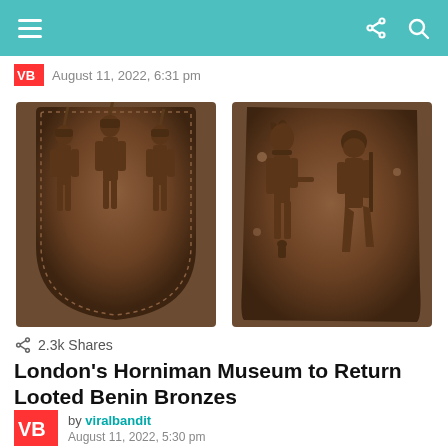August 11, 2022, 6:31 pm
[Figure (photo): Two Benin Bronze artifacts. Left: a rounded plaque with three standing figures wearing feathered headdresses, bordered by dotted pattern. Right: a rectangular plaque with two relief figures of warriors/attendants.]
2.3k Shares
London's Horniman Museum to Return Looted Benin Bronzes
by viralbandit
August 11, 2022, 5:30 pm